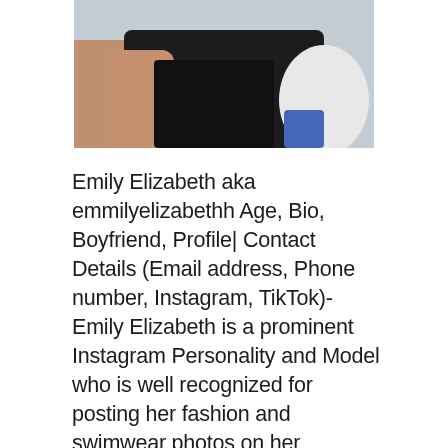[Figure (photo): Photo of Emily Elizabeth, a person wearing a black top, cropped at the torso level with a white object visible on the right side]
Emily Elizabeth aka emmilyelizabethh Age, Bio, Boyfriend, Profile| Contact Details (Email address, Phone number, Instagram, TikTok)- Emily Elizabeth is a prominent Instagram Personality and Model who is well recognized for posting her fashion and swimwear photos on her account. She posts her hot and beautiful videos on TikTok where she has amassed more than 41K followers and has earned almost 77K hearts on her videos. In January 2017, she started posting pictures on her Instagram account and has acquired more than 1.2M followers. Emily has modelled for major brands, including